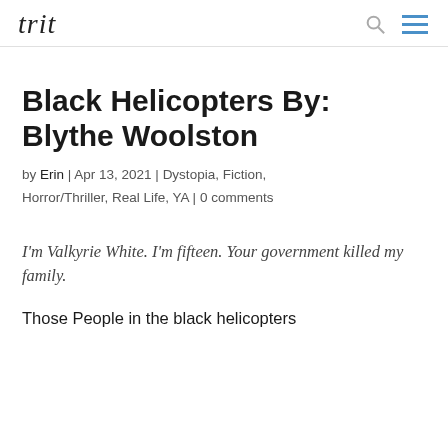trit
Black Helicopters By: Blythe Woolston
by Erin | Apr 13, 2021 | Dystopia, Fiction, Horror/Thriller, Real Life, YA | 0 comments
I'm Valkyrie White. I'm fifteen. Your government killed my family.
Those People in the black helicopters